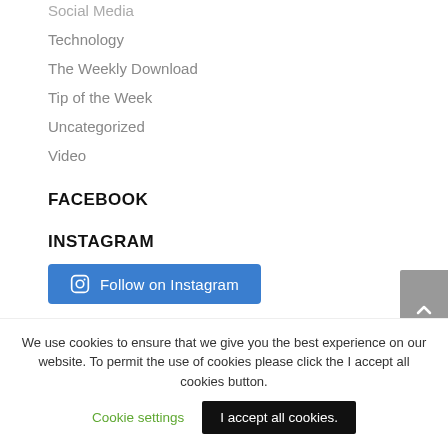Social Media
Technology
The Weekly Download
Tip of the Week
Uncategorized
Video
FACEBOOK
INSTAGRAM
[Figure (other): Follow on Instagram button (blue rounded rectangle with Instagram icon and text 'Follow on Instagram')]
We use cookies to ensure that we give you the best experience on our website. To permit the use of cookies please click the I accept all cookies button.
Cookie settings
I accept all cookies.